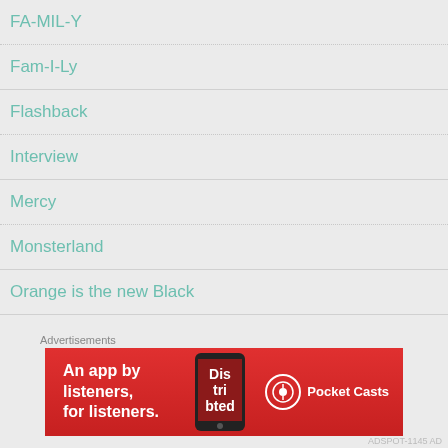FA-MIL-Y
Fam-I-Ly
Flashback
Interview
Mercy
Monsterland
Orange is the new Black
Pam & Tommy
Advertisements
[Figure (other): Pocket Casts advertisement banner: red background with text 'An app by listeners, for listeners.' and Pocket Casts logo]